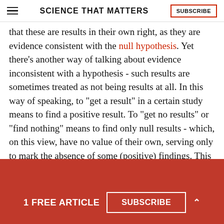SCIENCE THAT MATTERS | SUBSCRIBE
that these are results in their own right, as they are evidence consistent with the null hypothesis. Yet there's another way of talking about evidence inconsistent with a hypothesis - such results are sometimes treated as not being results at all. In this way of speaking, to "get a result" in a certain study means to find a positive result. To "get no results" or "find nothing" means to find only null results - which, on this view, have no value of their own, serving only to mark the absence of some (positive) findings. This 'non-result' idiom is common usage in science - at least in my experience - but in my view, it's
1 FREE ARTICLE  SUBSCRIBE